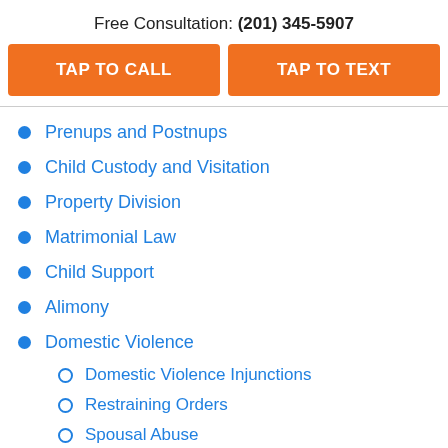Free Consultation: (201) 345-5907
TAP TO CALL
TAP TO TEXT
Prenups and Postnups
Child Custody and Visitation
Property Division
Matrimonial Law
Child Support
Alimony
Domestic Violence
Domestic Violence Injunctions
Restraining Orders
Spousal Abuse
Permanent Alimony